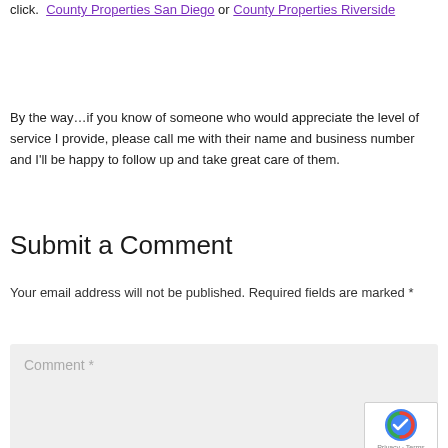click.  County Properties San Diego or County Properties Riverside
By the way…if you know of someone who would appreciate the level of service I provide, please call me with their name and business number and I'll be happy to follow up and take great care of them.
Submit a Comment
Your email address will not be published. Required fields are marked *
Comment *